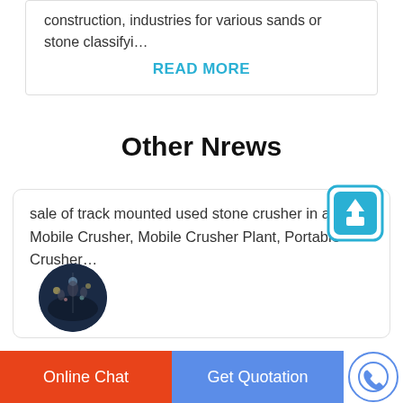construction, industries for various sands or stone classifyi…
READ MORE
Other Nrews
[Figure (photo): Circular thumbnail photo of a nighttime scene with lights]
[Figure (other): Upload/scroll-to-top icon button in teal color]
sale of track mounted used stone crusher in atyrau. Mobile Crusher, Mobile Crusher Plant, Portable Crusher…
Online Chat
Get Quotation